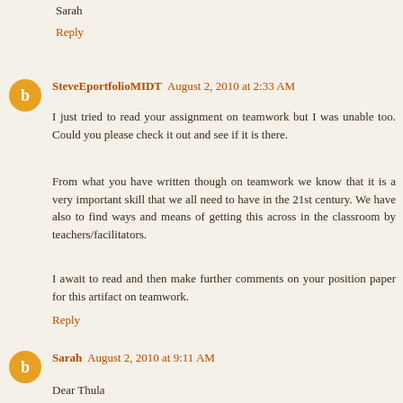Sarah
Reply
SteveEportfolioMIDT  August 2, 2010 at 2:33 AM
I just tried to read your assignment on teamwork but I was unable too. Could you please check it out and see if it is there.
From what you have written though on teamwork we know that it is a very important skill that we all need to have in the 21st century. We have also to find ways and means of getting this across in the classroom by teachers/facilitators.
I await to read and then make further comments on your position paper for this artifact on teamwork.
Reply
Sarah  August 2, 2010 at 9:11 AM
Dear Thula